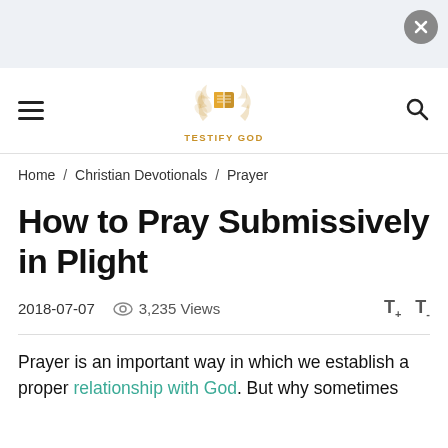[Figure (logo): Testify God logo with open book icon in orange/gold, surrounded by laurel wreath, with text TESTIFY GOD below]
Home / Christian Devotionals / Prayer
How to Pray Submissively in Plight
2018-07-07   3,235 Views   T+   T-
Prayer is an important way in which we establish a proper relationship with God. But why sometimes